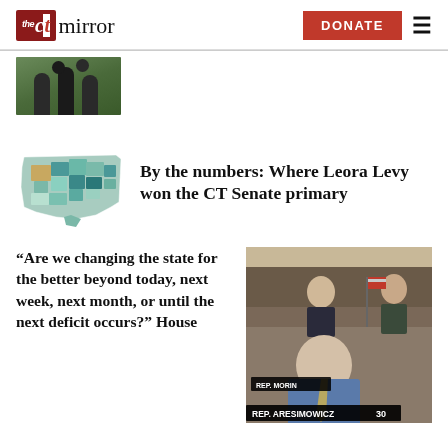the CT mirror | DONATE
[Figure (photo): Partial photo of people outdoors, cropped at top of view]
[Figure (map): Map of Connecticut with colored regions showing where Leora Levy won the CT Senate primary]
By the numbers: Where Leora Levy won the CT Senate primary
“Are we changing the state for the better beyond today, next week, next month, or until the next deficit occurs?” House
[Figure (photo): Photo of Rep. Aresimowicz and Rep. Morin seated in legislative chamber with nameplates visible]